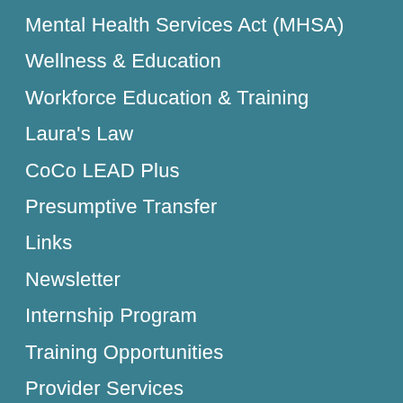Mental Health Services Act (MHSA)
Wellness & Education
Workforce Education & Training
Laura's Law
CoCo LEAD Plus
Presumptive Transfer
Links
Newsletter
Internship Program
Training Opportunities
Provider Services
Network Provider Resources
Clinical Documentation Forms
Suicide Prevention Committee